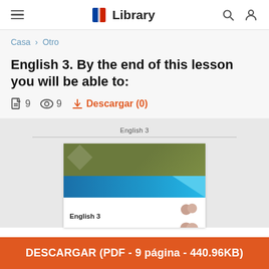Library
Casa > Otro
English 3. By the end of this lesson you will be able to:
9  9  Descargar (0)
[Figure (screenshot): Preview thumbnail of the English 3 document showing an olive/green header and blue banner with 'English 3' title and two people images]
DESCARGAR (PDF - 9 página - 440.96KB)